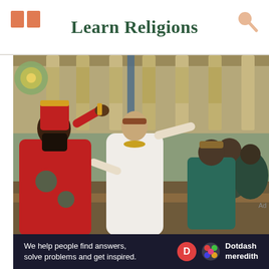Learn Religions
[Figure (illustration): Historical painting of a royal banquet scene showing a figure in white robes and gold crown gesturing/pointing, a king in red robes with ornate crown, and attendants, set in a palatial hall with decorated columns.]
Ad
We help people find answers, solve problems and get inspired. Dotdash meredith